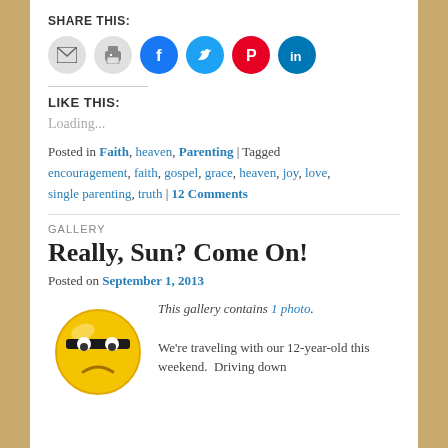SHARE THIS:
[Figure (illustration): Row of social sharing icon circles: email (grey), print (grey), Facebook (blue), Twitter (cyan), Pinterest (red), LinkedIn (teal)]
LIKE THIS:
Loading...
Posted in Faith, heaven, Parenting | Tagged encouragement, faith, gospel, grace, heaven, joy, love, single parenting, truth | 12 Comments
GALLERY
Really, Sun? Come On!
Posted on September 1, 2013
[Figure (illustration): Yellow emoji face with sleepy/annoyed expression wearing sunglasses (black bar over eyes), frowning]
This gallery contains 1 photo.

We're traveling with our 12-year-old this weekend.  Driving down